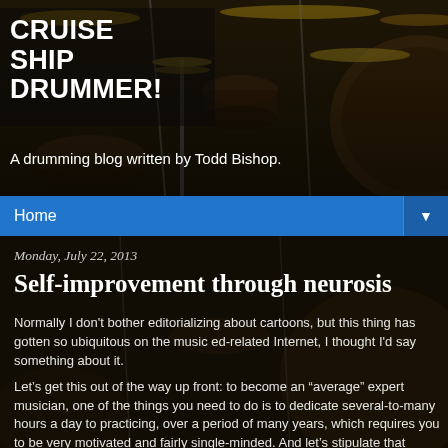[Figure (photo): Drum kit in a recording studio, used as background header image with dark overlay]
CRUISE SHIP DRUMMER!
A drumming blog written by Todd Bishop.
Home ▼
Monday, July 22, 2013
Self-improvement through neurosis
Normally I don't bother editorializing about cartoons, but this thing has gotten so ubiquitous on the music ed-related Internet, I thought I'd say something about it.
Let’s get this out of the way up front: to become an “average” expert musician, one of the things you need to do is to dedicate several-to-many hours a day to practicing, over a period of many years, which requires you to be very motivated and fairly single-minded. And let’s stipulate that